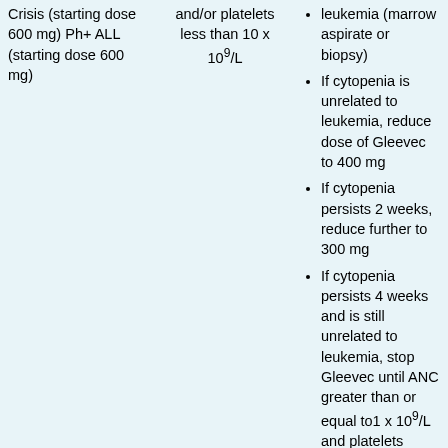Crisis (starting dose 600 mg) Ph+ ALL (starting dose 600 mg)
and/or platelets less than 10 x 10^9/L
leukemia (marrow aspirate or biopsy)
If cytopenia is unrelated to leukemia, reduce dose of Gleevec to 400 mg
If cytopenia persists 2 weeks, reduce further to 300 mg
If cytopenia persists 4 weeks and is still unrelated to leukemia, stop Gleevec until ANC greater than or equal to1 x 10^9/L and platelets greater than or equal to 20 x